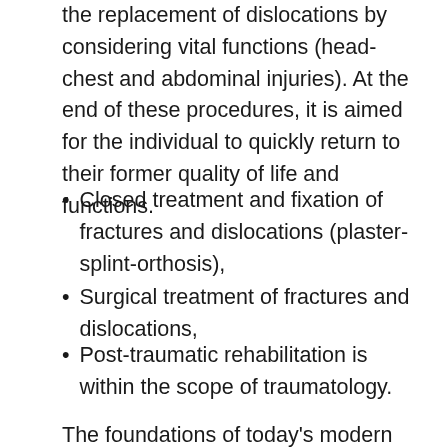the replacement of dislocations by considering vital functions (head-chest and abdominal injuries). At the end of these procedures, it is aimed for the individual to quickly return to their former quality of life and functions.
Closed treatment and fixation of fractures and dislocations (plaster-splint-orthosis),
Surgical treatment of fractures and dislocations,
Post-traumatic rehabilitation is within the scope of traumatology.
The foundations of today's modern implant and fixation methods were laid in trauma surgery, which made its greatest development during the World War II years. When Dutch military physician Antonius Mathysen...